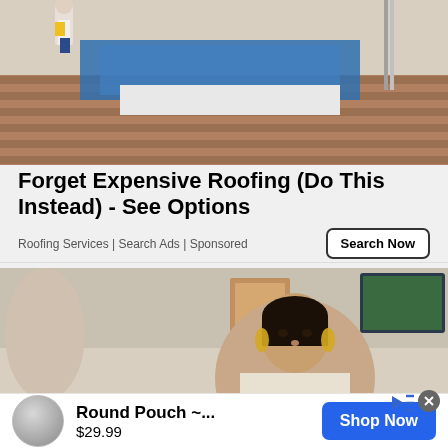[Figure (photo): Aerial view of roofing work — worker on roof with blue tarp and materials]
Forget Expensive Roofing (Do This Instead) - See Options
Roofing Services | Search Ads | Sponsored
[Figure (screenshot): Search Now button]
[Figure (photo): Woman with gold earrings looking at camera in indoor setting]
[Figure (photo): Round Pouch product icon — small gray circular bag]
Round Pouch ~...
$29.99
Shop Now